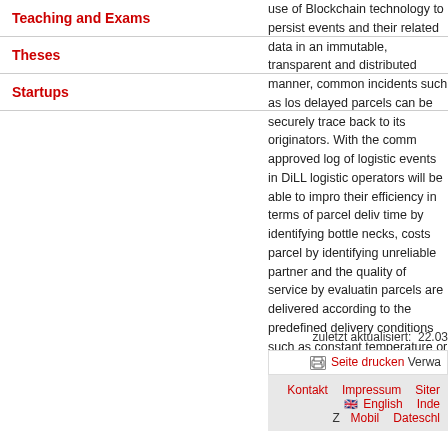Teaching and Exams
Theses
Startups
use of Blockchain technology to persist events and their related data in an immutable, transparent and distributed manner, common incidents such as lost or delayed parcels can be securely traced back to its originators. With the commonly approved log of logistic events in DiLLo, logistic operators will be able to improve their efficiency in terms of parcel delivery time by identifying bottle necks, costs per parcel by identifying unreliable partners, and the quality of service by evaluating if parcels are delivered according to the predefined delivery conditions such as a constant temperature or an acceptable intensity of shocks for goods of high value.
zuletzt aktualisiert:  22.03
Seite drucken Verwa
Kontakt  Impressum  Siter  English  Inde  Z  Mobil  Datenschl